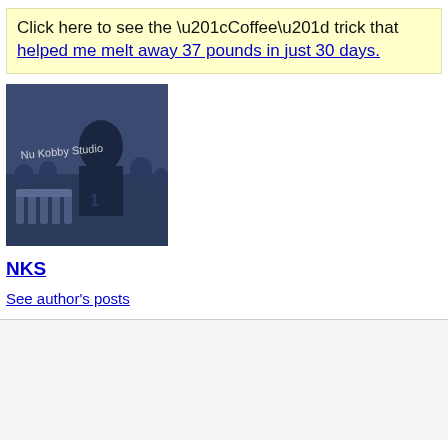Click here to see the “Coffee” trick that helped me melt away 37 pounds in just 30 days.
[Figure (photo): A dark blue-tinted photo of a person at what appears to be a music or performance venue, with text 'Nu Kobby Studio' overlaid in white handwritten script.]
NKS
See author's posts